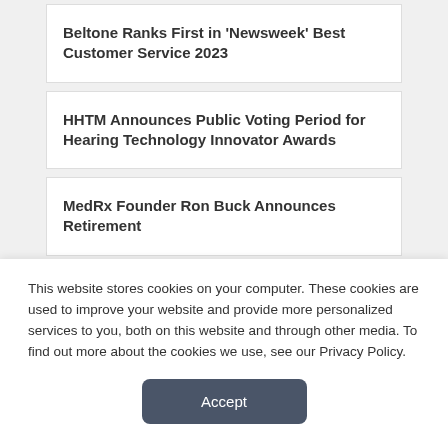Beltone Ranks First in ‘Newsweek’ Best Customer Service 2023
HHTM Announces Public Voting Period for Hearing Technology Innovator Awards
MedRx Founder Ron Buck Announces Retirement
Starkey Announces New Features for Evolv AI
This website stores cookies on your computer. These cookies are used to improve your website and provide more personalized services to you, both on this website and through other media. To find out more about the cookies we use, see our Privacy Policy.